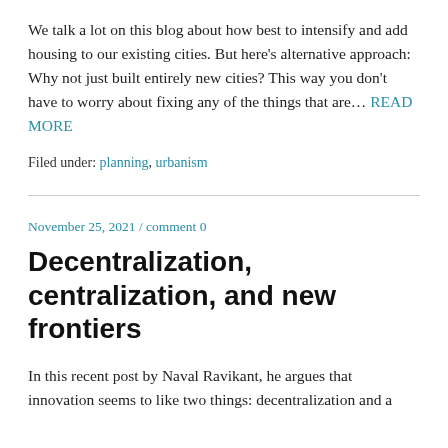We talk a lot on this blog about how best to intensify and add housing to our existing cities. But here's alternative approach: Why not just built entirely new cities? This way you don't have to worry about fixing any of the things that are… READ MORE
Filed under: planning, urbanism
November 25, 2021 / comment 0
Decentralization, centralization, and new frontiers
In this recent post by Naval Ravikant, he argues that innovation seems to like two things: decentralization and a